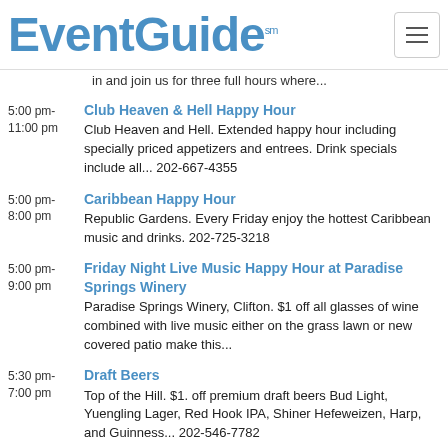EventGuide (sm)
in and join us for three full hours where...
5:00 pm-11:00 pm
Club Heaven & Hell Happy Hour
Club Heaven and Hell. Extended happy hour including specially priced appetizers and entrees. Drink specials include all... 202-667-4355
5:00 pm-8:00 pm
Caribbean Happy Hour
Republic Gardens. Every Friday enjoy the hottest Caribbean music and drinks. 202-725-3218
5:00 pm-9:00 pm
Friday Night Live Music Happy Hour at Paradise Springs Winery
Paradise Springs Winery, Clifton. $1 off all glasses of wine combined with live music either on the grass lawn or new covered patio make this...
5:30 pm-7:00 pm
Draft Beers
Top of the Hill. $1. off premium draft beers Bud Light, Yuengling Lager, Red Hook IPA, Shiner Hefeweizen, Harp, and Guinness... 202-546-7782
5:30 pm-8:00 pm
Cosmic Fridays
Top of the Hill. Half-priced Cosmopolitans $5. 202-546-7782
6:00 pm-
Kenyon Friday Happy Hours